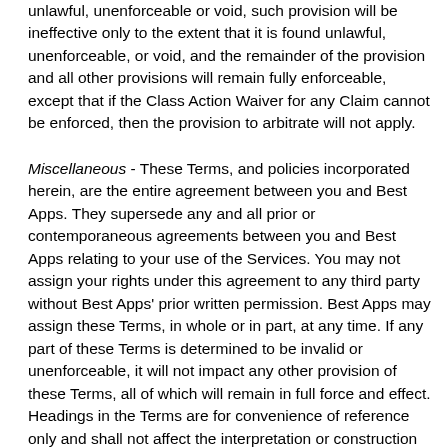unlawful, unenforceable or void, such provision will be ineffective only to the extent that it is found unlawful, unenforceable, or void, and the remainder of the provision and all other provisions will remain fully enforceable, except that if the Class Action Waiver for any Claim cannot be enforced, then the provision to arbitrate will not apply.
Miscellaneous - These Terms, and policies incorporated herein, are the entire agreement between you and Best Apps. They supersede any and all prior or contemporaneous agreements between you and Best Apps relating to your use of the Services. You may not assign your rights under this agreement to any third party without Best Apps' prior written permission. Best Apps may assign these Terms, in whole or in part, at any time. If any part of these Terms is determined to be invalid or unenforceable, it will not impact any other provision of these Terms, all of which will remain in full force and effect. Headings in the Terms are for convenience of reference only and shall not affect the interpretation or construction of this agreement. The failure of Best Apps to partially or fully exercise any rights or the waiver of Best Apps of any breach of these Terms by you, shall